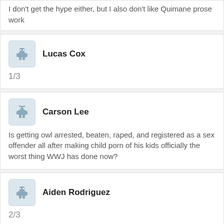I don't get the hype either, but I also don't like Quimane prose work
Lucas Cox
1/3
Carson Lee
Is getting owl arrested, beaten, raped, and registered as a sex offender all after making child porn of his kids officially the worst thing WWJ has done now?
Aiden Rodriguez
2/3
Alexander Ward
Owl deserved it.